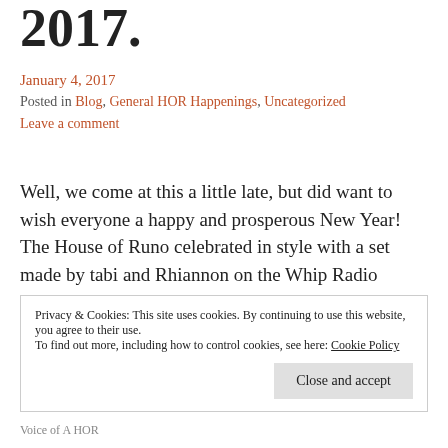2017.
January 4, 2017
Posted in Blog, General HOR Happenings, Uncategorized
Leave a comment
Well, we come at this a little late, but did want to wish everyone a happy and prosperous New Year! The House of Runo celebrated in style with a set made by tabi and Rhiannon on the Whip Radio broadcasting dance music. Many stopped by to dance and chat for a bit.  I think everyone...... Continue reading
Privacy & Cookies: This site uses cookies. By continuing to use this website, you agree to their use. To find out more, including how to control cookies, see here: Cookie Policy
Close and accept
Voice of A HOR